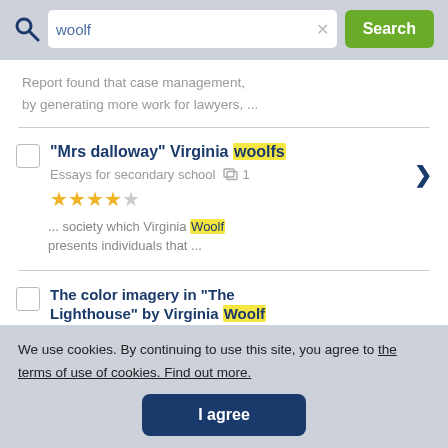[Figure (screenshot): Search bar with query 'woolf', clear button, and green Search button on grey background]
Report found that case management, by generating more work for lawyers, ...
"Mrs dalloway" Virginia woolfs
Essays for secondary school  1
★★★★☆
... society which Virginia Woolf presents individuals that ...
The color imagery in "The Lighthouse" by Virginia Woolf
We use cookies. By continuing to use this site, you agree to the terms of use of cookies. Find out more.